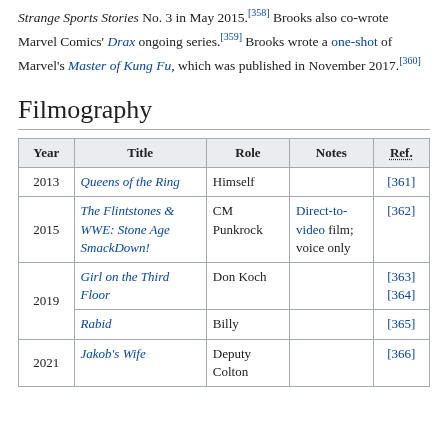Strange Sports Stories No. 3 in May 2015.[358] Brooks also co-wrote Marvel Comics' Drax ongoing series.[359] Brooks wrote a one-shot of Marvel's Master of Kung Fu, which was published in November 2017.[360]
Filmography
| Year | Title | Role | Notes | Ref. |
| --- | --- | --- | --- | --- |
| 2013 | Queens of the Ring | Himself |  | [361] |
| 2015 | The Flintstones & WWE: Stone Age SmackDown! | CM Punkrock | Direct-to-video film; voice only | [362] |
| 2019 | Girl on the Third Floor | Don Koch |  | [363][364] |
| 2019 | Rabid | Billy |  | [365] |
| 2021 | Jakob's Wife | Deputy Colton |  | [366] |